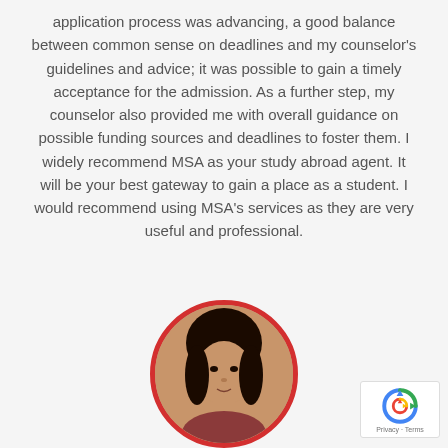application process was advancing, a good balance between common sense on deadlines and my counselor's guidelines and advice; it was possible to gain a timely acceptance for the admission. As a further step, my counselor also provided me with overall guidance on possible funding sources and deadlines to foster them. I widely recommend MSA as your study abroad agent. It will be your best gateway to gain a place as a student. I would recommend using MSA's services as they are very useful and professional.
[Figure (photo): Circular portrait photo of a young woman with dark hair, framed by a red circular border, positioned at the bottom center of the page.]